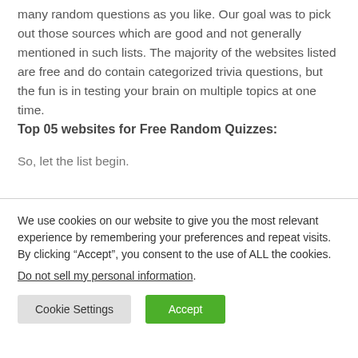many random questions as you like. Our goal was to pick out those sources which are good and not generally mentioned in such lists. The majority of the websites listed are free and do contain categorized trivia questions, but the fun is in testing your brain on multiple topics at one time.
Top 05 websites for Free Random Quizzes:
So, let the list begin.
We use cookies on our website to give you the most relevant experience by remembering your preferences and repeat visits. By clicking “Accept”, you consent to the use of ALL the cookies.
Do not sell my personal information.